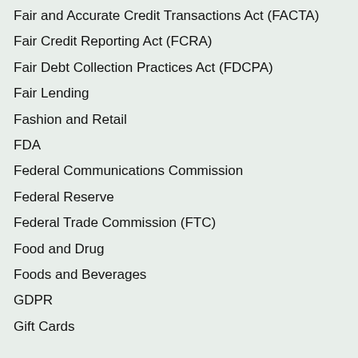Fair and Accurate Credit Transactions Act (FACTA)
Fair Credit Reporting Act (FCRA)
Fair Debt Collection Practices Act (FDCPA)
Fair Lending
Fashion and Retail
FDA
Federal Communications Commission
Federal Reserve
Federal Trade Commission (FTC)
Food and Drug
Foods and Beverages
GDPR
Gift Cards